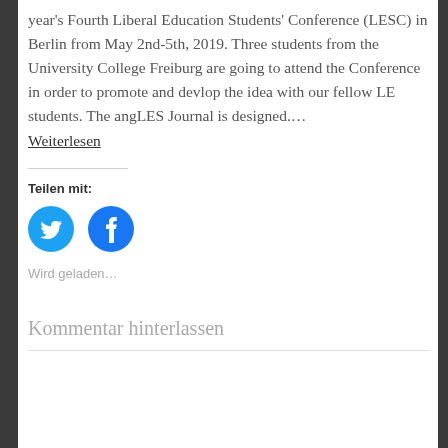year's Fourth Liberal Education Students' Conference (LESC) in Berlin from May 2nd-5th, 2019. Three students from the University College Freiburg are going to attend the Conference in order to promote and devlop the idea with our fellow LE students. The angLES Journal is designed….
Weiterlesen
Teilen mit:
[Figure (illustration): Twitter and Facebook share buttons as circular blue icons]
Wird geladen...
Kommentar hinterlassen